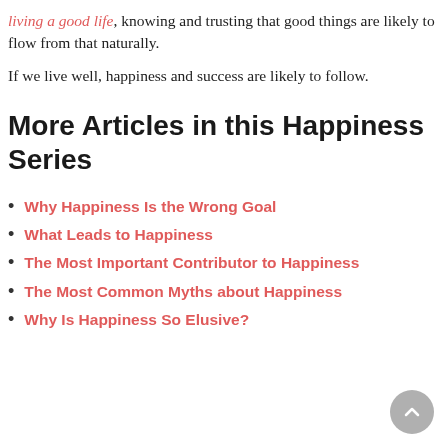living a good life, knowing and trusting that good things are likely to flow from that naturally.
If we live well, happiness and success are likely to follow.
More Articles in this Happiness Series
Why Happiness Is the Wrong Goal
What Leads to Happiness
The Most Important Contributor to Happiness
The Most Common Myths about Happiness
Why Is Happiness So Elusive?